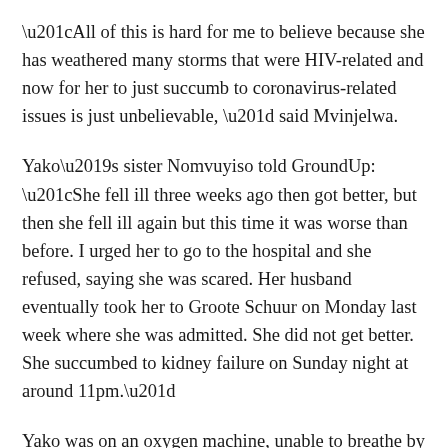“All of this is hard for me to believe because she has weathered many storms that were HIV-related and now for her to just succumb to coronavirus-related issues is just unbelievable, ” said Mvinjelwa.
Yako’s sister Nomvuyiso told GroundUp: “She fell ill three weeks ago then got better, but then she fell ill again but this time it was worse than before. I urged her to go to the hospital and she refused, saying she was scared. Her husband eventually took her to Groote Schuur on Monday last week where she was admitted. She did not get better. She succumbed to kidney failure on Sunday night at around 11pm.”
Yako was on an oxygen machine, unable to breathe by herself. Before that she had lost part of her memory and was confused.
She was struck by the two new pandemics of our